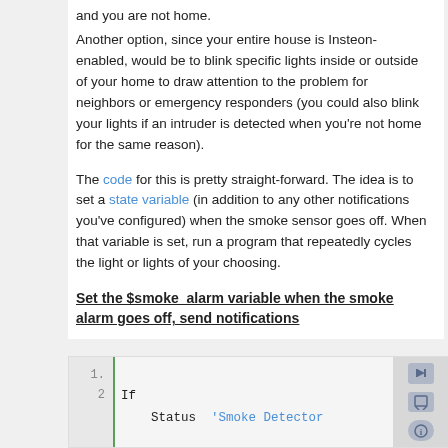and you are not home.
Another option, since your entire house is Insteon-enabled, would be to blink specific lights inside or outside of your home to draw attention to the problem for neighbors or emergency responders (you could also blink your lights if an intruder is detected when you’re not home for the same reason).
The code for this is pretty straight-forward. The idea is to set a state variable (in addition to any other notifications you've configured) when the smoke sensor goes off. When that variable is set, run a program that repeatedly cycles the light or lights of your choosing.
Set the $smoke  alarm variable when the smoke alarm goes off, send notifications
[Figure (screenshot): Code block showing line numbers 1 and 2, with code: 'If' on line 1, and '    Status  \'Smoke Detector' on line 2, with icons on the right side.]